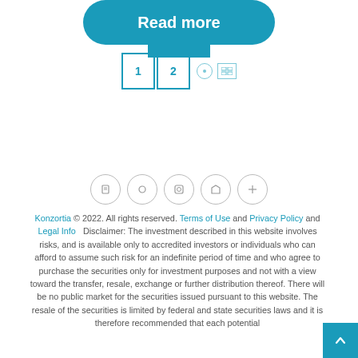[Figure (other): Read more button - teal rounded rectangle button with white text 'Read more']
[Figure (other): Pagination controls showing page 1 active (highlighted), page 2, and navigation icons in teal]
[Figure (other): Five social media icon circles outlined in light gray]
Konzortia © 2022. All rights reserved. Terms of Use and Privacy Policy and Legal Info   Disclaimer: The investment described in this website involves risks, and is available only to accredited investors or individuals who can afford to assume such risk for an indefinite period of time and who agree to purchase the securities only for investment purposes and not with a view toward the transfer, resale, exchange or further distribution thereof. There will be no public market for the securities issued pursuant to this website. The resale of the securities is limited by federal and state securities laws and it is therefore recommended that each potential
[Figure (other): Teal scroll-to-top or navigation button in bottom right corner with arrow icon]